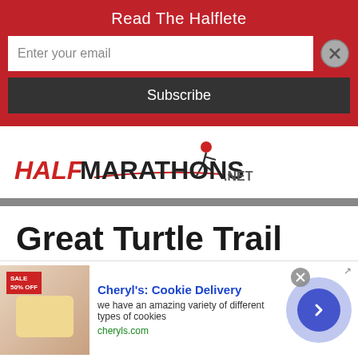Read The Halflete
Enter your email
Subscribe
[Figure (logo): HalfMarathons.net logo with runner silhouette]
Great Turtle Trail Run Half Marathon & 5.7-Mile
[Figure (infographic): Advertisement for Cheryl's Cookie Delivery - 'we have an amazing variety of different types of cookies' - cheryls.com]